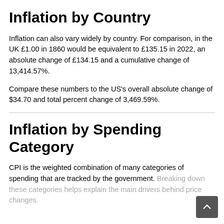Inflation by Country
Inflation can also vary widely by country. For comparison, in the UK £1.00 in 1860 would be equivalent to £135.15 in 2022, an absolute change of £134.15 and a cumulative change of 13,414.57%.
Compare these numbers to the US's overall absolute change of $34.70 and total percent change of 3,469.59%.
Inflation by Spending Category
CPI is the weighted combination of many categories of spending that are tracked by the government. Breaking down these categories helps explain the main drivers behind price changes.